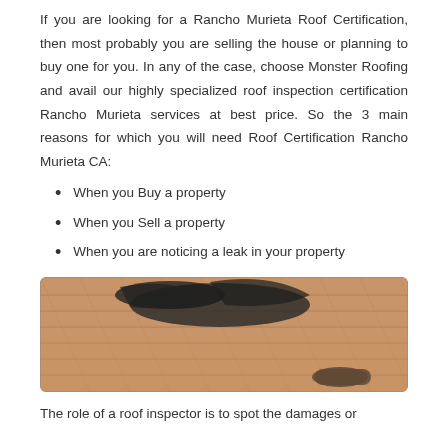If you are looking for a Rancho Murieta Roof Certification, then most probably you are selling the house or planning to buy one for you. In any of the case, choose Monster Roofing and avail our highly specialized roof inspection certification Rancho Murieta services at best price. So the 3 main reasons for which you will need Roof Certification Rancho Murieta CA:
When you Buy a property
When you Sell a property
When you are noticing a leak in your property
[Figure (photo): Close-up photo of a damaged roof with missing/lifted shingles and a person's hand or tool visible, showing tan/brown asphalt shingles with dark damaged patches.]
The role of a roof inspector is to spot the damages or